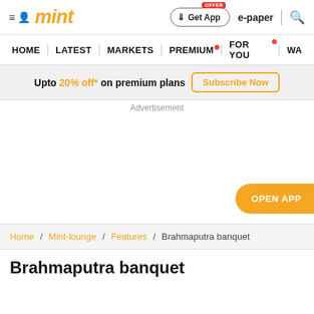mint | Get App | e-paper
HOME | LATEST | MARKETS | PREMIUM | FOR YOU | WA
Upto 20% off* on premium plans Subscribe Now
Advertisement
OPEN APP
Home / Mint-lounge / Features / Brahmaputra banquet
Brahmaputra banquet